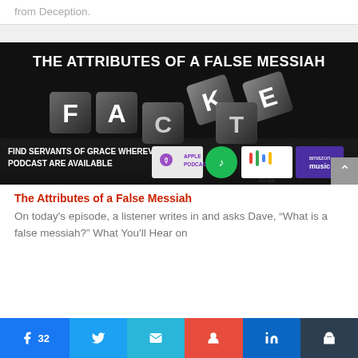from Deception.
[Figure (illustration): Podcast promotional image with black background showing dark 3D letter blocks spelling FAKE/FACT, titled 'THE ATTRIBUTES OF A FALSE MESSIAH', with podcast platform logos (Apple Podcasts, Spotify, Google Podcasts, Amazon Music) and text 'FIND SERVANTS OF GRACE WHEREVER PODCAST ARE AVAILABLE']
The Attributes of a False Messiah
On today's episode, a listener writes in and asks Dave, “What is a false messiah?” What You'll Hear on